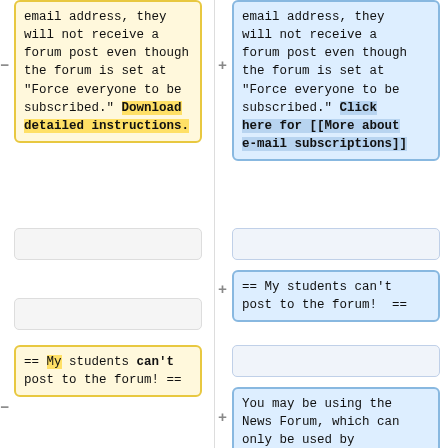email address, they will not receive a forum post even though the forum is set at "Force everyone to be subscribed." Download detailed instructions.
email address, they will not receive a forum post even though the forum is set at "Force everyone to be subscribed." Click here for [[More about e-mail subscriptions]]
== My students can't post to the forum!  ==
== My students can't post to the forum! ==
You may be using the News Forum, which can only be used by Faculty. To involve students, turn on editing, click add an activity, and select Forum. When...